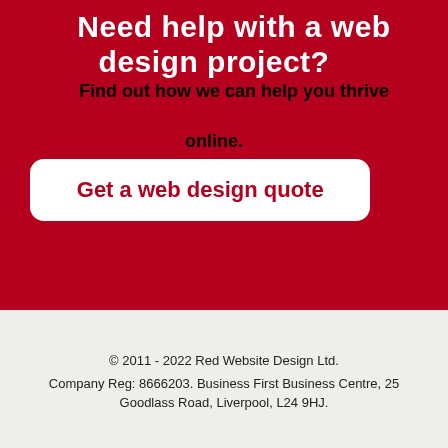Need help with a web design project?
Find out how we can help you thrive online.
Get a web design quote
© 2011 - 2022 Red Website Design Ltd. Company Reg: 8666203. Business First Business Centre, 25 Goodlass Road, Liverpool, L24 9HJ.